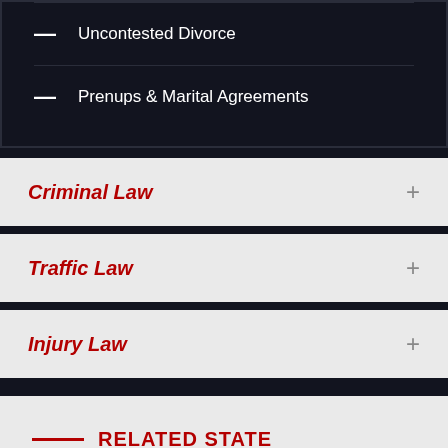Uncontested Divorce
Prenups & Marital Agreements
Criminal Law
Traffic Law
Injury Law
RELATED STATE
Experienced Attorneys